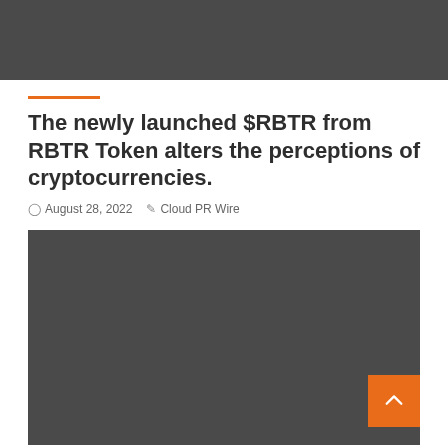[Figure (other): Dark gray header bar at the top of the page]
The newly launched $RBTR from RBTR Token alters the perceptions of cryptocurrencies.
August 28, 2022   Cloud PR Wire
[Figure (photo): Large dark gray image placeholder for article featured image, with an orange scroll-to-top button in the bottom right corner]